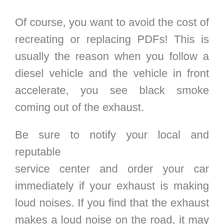Of course, you want to avoid the cost of recreating or replacing PDFs! This is usually the reason when you follow a diesel vehicle and the vehicle in front accelerate, you see black smoke coming out of the exhaust.
Be sure to notify your local and reputable service center and order your car immediately if your exhaust is making loud noises. If you find that the exhaust makes a loud noise on the road, it may be due to a hole in the exhaust pipe. The constant noise